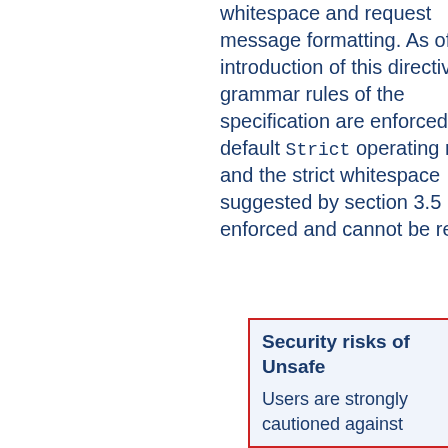whitespace and request message formatting. As of the introduction of this directive, all grammar rules of the specification are enforced in the default Strict operating mode, and the strict whitespace suggested by section 3.5 is enforced and cannot be relaxed.
Security risks of Unsafe
Users are strongly cautioned against